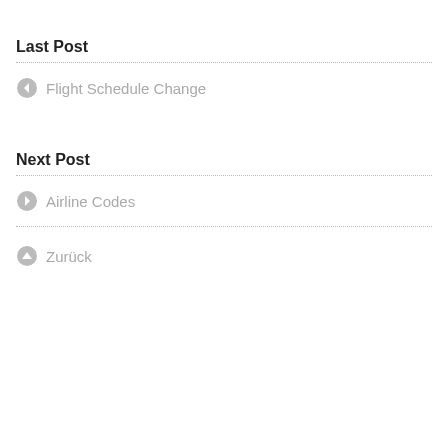Last Post
Flight Schedule Change
Next Post
Airline Codes
Zurück